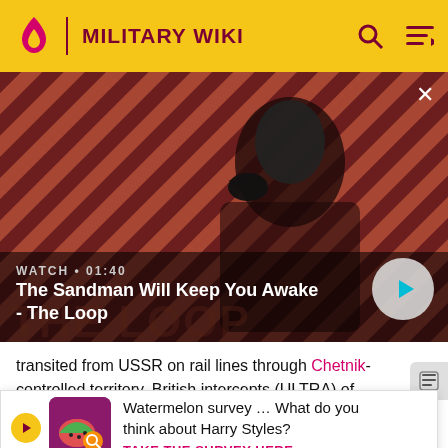Military Wiki
[Figure (screenshot): Video thumbnail showing a dark-clothed figure with a raven on shoulder against a red and black diagonal striped background. Label reads 'WATCH · 01:40'. Title: 'The Sandman Will Keep You Awake - The Loop']
transited from USSR on rail lines through Chetnik-controlled territory. British intercepts (ULTRA) of Germ... messages ... high today ... remained ... sed
[Figure (infographic): Survey banner with watermelon-themed icon. Text: 'Watermelon survey … What do you think about Harry Styles? TAKE THE SURVEY HERE']